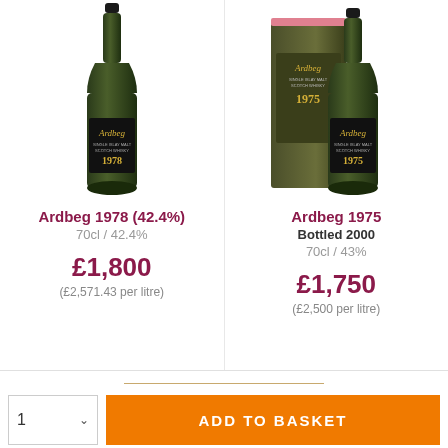[Figure (photo): Ardbeg 1978 whisky bottle, dark green glass with black label showing 'Ardbeg Single Islay Malt Scotch Whisky 1978']
Ardbeg 1978 (42.4%)
70cl / 42.4%
£1,800
(£2,571.43 per litre)
[Figure (photo): Ardbeg 1975 whisky bottle with box, dark olive green box and bottle, label showing 'Ardbeg Single Islay Malt Scotch Whisky 1975']
Ardbeg 1975
Bottled 2000
70cl / 43%
£1,750
(£2,500 per litre)